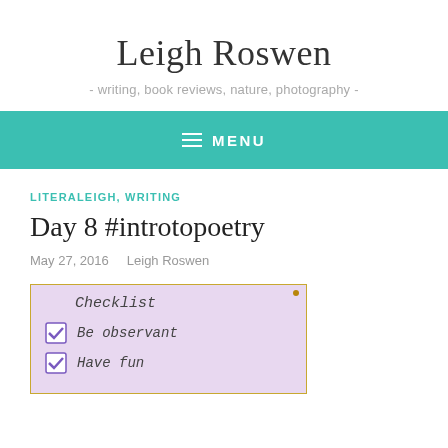Leigh Roswen
- writing, book reviews, nature, photography -
MENU
LITERALEIGH, WRITING
Day 8 #introtopoetry
May 27, 2016   Leigh Roswen
[Figure (photo): A handwritten checklist on pink/lavender paper with a yellow border. Title reads 'Checklist'. Two items are checked: 'Be observant' and 'Have fun', each with a purple checkbox tick mark.]